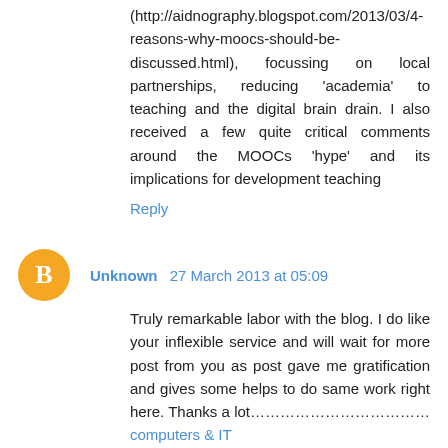(http://aidnography.blogspot.com/2013/03/4-reasons-why-moocs-should-be-discussed.html), focussing on local partnerships, reducing 'academia' to teaching and the digital brain drain. I also received a few quite critical comments around the MOOCs 'hype' and its implications for development teaching
Reply
Unknown 27 March 2013 at 05:09
Truly remarkable labor with the blog. I do like your inflexible service and will wait for more post from you as post gave me gratification and gives some helps to do same work right here. Thanks a lot………………………………computers & IT
Reply
Balachandra Iyer 7 April 2013 at 08:11
The issue of employability is still crucial, esp. in a developing country context. Seats in good